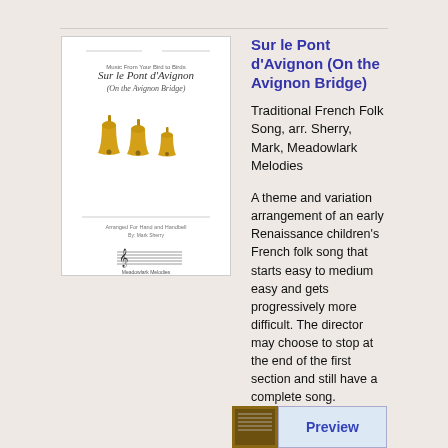[Figure (illustration): Sheet music cover for Sur le Pont d'Avignon showing three golden bells and musical notation]
Sur le Pont d'Avignon (On the Avignon Bridge)
Traditional French Folk Song, arr. Sherry, Mark, Meadowlark Melodies
A theme and variation arrangement of an early Renaissance children's French folk song that starts easy to medium easy and gets progressively more difficult. The director may choose to stop at the end of the first section and still have a complete song.
[Figure (illustration): Preview button with sheet music thumbnail]